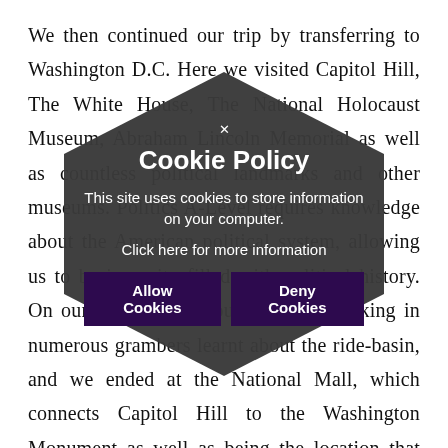We then continued our trip by transferring to Washington D.C. Here we visited Capitol Hill, The White House, The National Holocaust Museum, Abraham Lincoln Memorial as well as countless political landmarks and other museums. Politics A-Level requires knowledge about the American political system, allowing us to be in a city filled with political history. On our first day we toured the city, taking in numerous grambers learnt about the ride-basin, and we ended at the National Mall, which connects Capitol Hill to the Washington Monument as well as being the location that the public can watch the inauguration of the President. Visiting the National Holocaust
[Figure (other): A dark hexagon-shaped cookie policy popup overlay with white text showing 'Cookie Policy', 'This site uses cookies to store information on your computer.', 'Click here for more information', and two buttons: 'Allow Cookies' and 'Deny Cookies'. A small X close button appears at the top of the hexagon.]